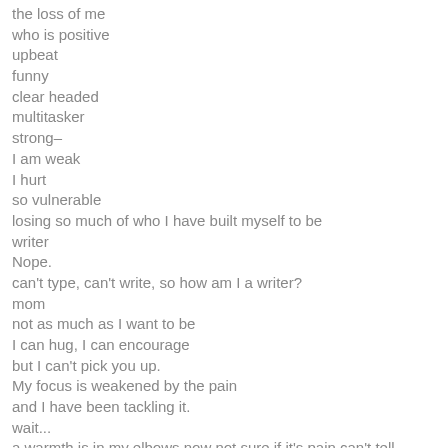the loss of me
who is positive
upbeat
funny
clear headed
multitasker
strong–
I am weak
I hurt
so vulnerable
losing so much of who I have built myself to be
writer
Nope.
can't type, can't write, so how am I a writer?
mom
not as much as I want to be
I can hug, I can encourage
but I can't pick you up.
My focus is weakened by the pain
and I have been tackling it.
wait...
a warmth is in my elbows now not sure if it's pain can't tell